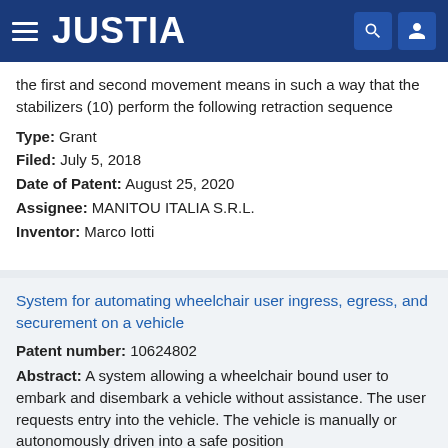JUSTIA
the first and second movement means in such a way that the stabilizers (10) perform the following retraction sequence
Type: Grant
Filed: July 5, 2018
Date of Patent: August 25, 2020
Assignee: MANITOU ITALIA S.R.L.
Inventor: Marco Iotti
System for automating wheelchair user ingress, egress, and securement on a vehicle
Patent number: 10624802
Abstract: A system allowing a wheelchair bound user to embark and disembark a vehicle without assistance. The user requests entry into the vehicle. The vehicle is manually or autonomously driven into a safe position